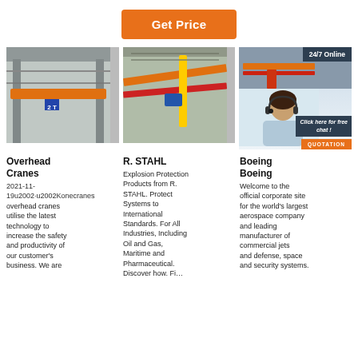[Figure (other): Orange 'Get Price' button centered at top]
[Figure (photo): Overhead crane with orange beam labeled 2T in industrial building]
[Figure (photo): Orange and yellow overhead crane structure viewed from below in industrial setting]
[Figure (photo): Small overhead crane photo and customer service representative with 24/7 Online badge and chat overlay]
Overhead Cranes
2021-11-19u2002·u2002Konecranes overhead cranes utilise the latest technology to increase the safety and productivity of our customer's business. We are
R. STAHL
Explosion Protection Products from R. STAHL. Protect Systems to International Standards. For All Industries, Including Oil and Gas, Maritime and Pharmaceutical. Discover how. Fi…
Boeing Boeing
Welcome to the official corporate site for the world's largest aerospace company and leading manufacturer of commercial jets and defense, space and security systems.